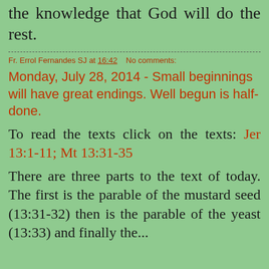the knowledge that God will do the rest.
Fr. Errol Fernandes SJ at 16:42    No comments:
Monday, July 28, 2014 - Small beginnings will have great endings. Well begun is half-done.
To read the texts click on the texts: Jer 13:1-11; Mt 13:31-35
There are three parts to the text of today. The first is the parable of the mustard seed (13:31-32) then is the parable of the yeast (13:33) and finally the...